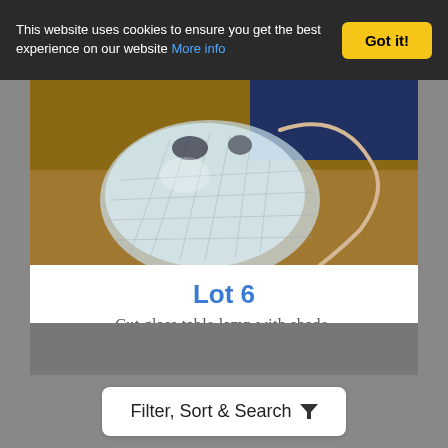This website uses cookies to ensure you get the best experience on our website More info  Got it!
[Figure (photo): Photo of a cut glass table lamp with shade lying on a wooden surface]
Lot 6
Cut glass table lamp with shade.
Hammer £28
Fees ?
Watch Lot
Filter, Sort & Search